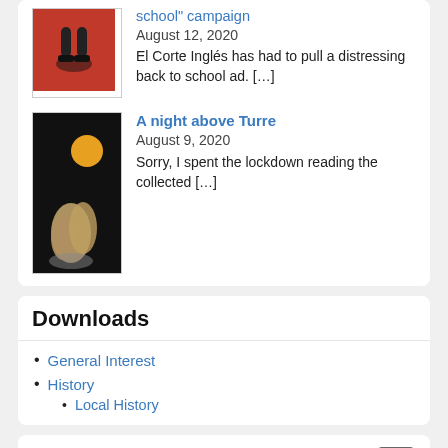[Figure (photo): Thumbnail image with red background showing shoes/headphones]
school" campaign
August 12, 2020
El Corte Inglés has had to pull a distressing back to school ad. […]
[Figure (photo): Thumbnail image with dark background showing a statue with an orange moon]
A night above Turre
August 9, 2020
Sorry, I spent the lockdown reading the collected […]
Downloads
General Interest
History
Local History
Search DavidJackson.info